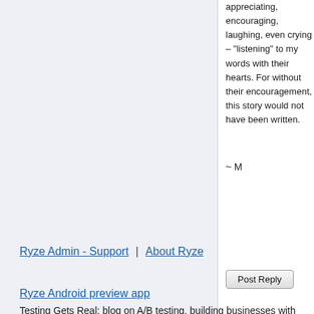appreciating, encouraging, laughing, even crying – "listening" to my words with their hearts. For without their encouragement, this story would not have been written.
~ M
[Figure (other): Post Reply button]
Private Reply to Marilyn (new win)
Ryze Admin - Support | About Ryze
Ryze Android preview app
Testing Gets Real: blog on A/B testing, building businesses with feedback